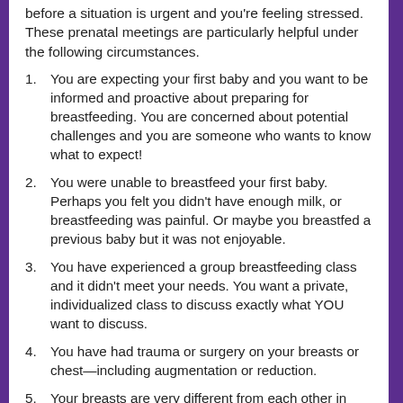before a situation is urgent and you're feeling stressed. These prenatal meetings are particularly helpful under the following circumstances.
You are expecting your first baby and you want to be informed and proactive about preparing for breastfeeding. You are concerned about potential challenges and you are someone who wants to know what to expect!
You were unable to breastfeed your first baby. Perhaps you felt you didn't have enough milk, or breastfeeding was painful. Or maybe you breastfed a previous baby but it was not enjoyable.
You have experienced a group breastfeeding class and it didn't meet your needs. You want a private, individualized class to discuss exactly what YOU want to discuss.
You have had trauma or surgery on your breasts or chest—including augmentation or reduction.
Your breasts are very different from each other in size and/or shape. Breasts are never absolutely